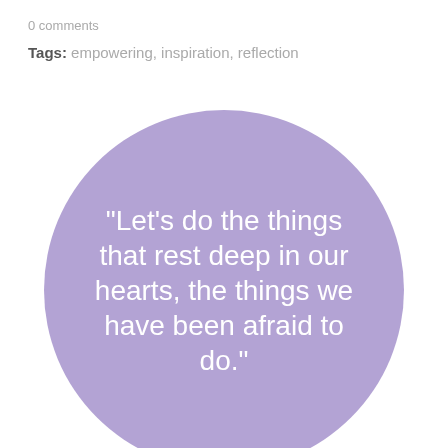0 comments
Tags: empowering, inspiration, reflection
[Figure (illustration): Purple circle with white quote text: "Let's do the things that rest deep in our hearts, the things we have been afraid to do." with small watermark text 'aso comilieri 2014']